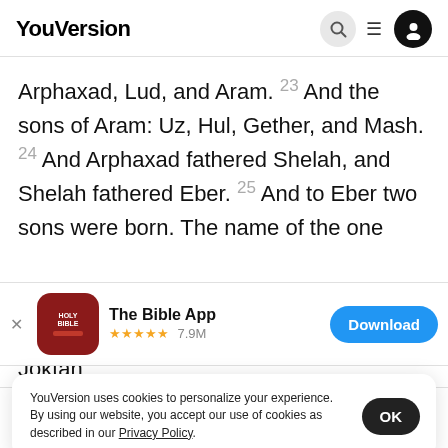YouVersion
Arphaxad, Lud, and Aram. 23 And the sons of Aram: Uz, Hul, Gether, and Mash. 24 And Arphaxad fathered Shelah, and Shelah fathered Eber. 25 And to Eber two sons were born. The name of the one
[Figure (screenshot): App download banner for The Bible App with icon, 5-star rating 7.9M, and Download button]
Joktan
Jerah,
YouVersion uses cookies to personalize your experience. By using our website, you accept our use of cookies as described in our Privacy Policy.
Home  Bible  Plans  Videos